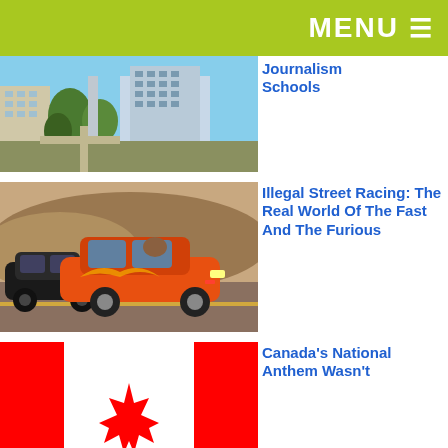MENU ☰
[Figure (photo): Aerial view of a university campus with buildings and trees]
Journalism Schools
[Figure (photo): Orange Toyota Supra and black car racing on a street, from Fast and Furious]
Illegal Street Racing: The Real World Of The Fast And The Furious
[Figure (photo): Canadian national flag - red and white with maple leaf]
Canada's National Anthem Wasn't